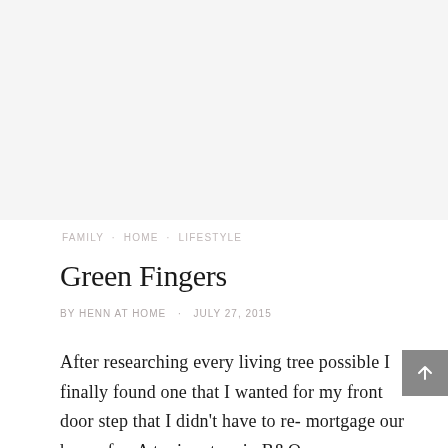[Figure (photo): Placeholder image area at top of blog post, light gray background]
FAMILY · HOME · LIFESTYLE
Green Fingers
BY HENN AT HOME · JULY 27, 2015
After researching every living tree possible I finally found one that I wanted for my front door step that I didn't have to re- mortgage our house for. A topiary tree in B&Q was